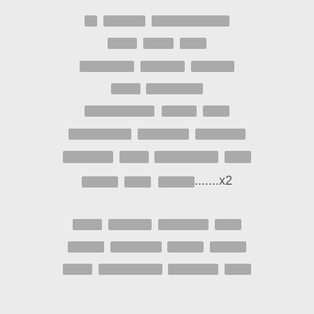[redacted line 1]
[redacted line 2]
[redacted line 3]
[redacted line 4]
[redacted line 5]
[redacted line 6]
[redacted line 7]
[redacted line 8] .......x2
[redacted line 9]
[redacted line 10]
[redacted line 11]